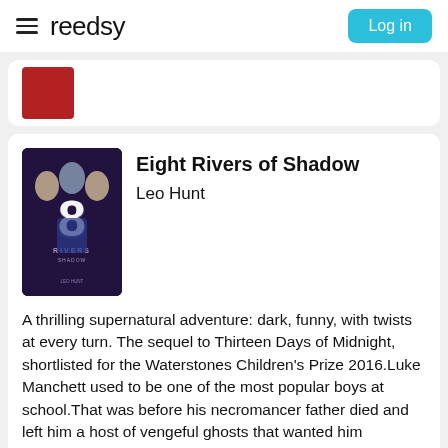reedsy  Log in
[Figure (screenshot): Partial book card at top, showing a red book cover image]
Eight Rivers of Shadow
Leo Hunt
[Figure (illustration): Book cover for Eight Rivers of Shadow showing figure in dark blue jersey with number 8, faces above on dark background]
A thrilling supernatural adventure: dark, funny, with twists at every turn. The sequel to Thirteen Days of Midnight, shortlisted for the Waterstones Children's Prize 2016.Luke Manchett used to be one of the most popular boys at school.That was before his necromancer father died and left him a host of vengeful ghosts that wanted him dead.Now everyone thinks he's a freak.To make matters worse, t... read more